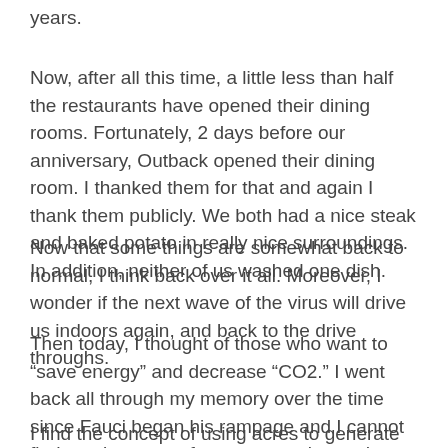years.
Now, after all this time, a little less than half the restaurants have opened their dining rooms. Fortunately, 2 days before our anniversary, Outback opened their dining room. I thanked them for that and again I thank them publicly. We both had a nice steak and baked potato in really nice surroundings. In addition, neither of us washed one dish.
Now that some things are somewhat back to normal, I think back over it all. Moreover, I wonder if the next wave of the virus will drive us indoors again, and back to the drive throughs.
Then today, I thought of those who want to “save energy” and decrease “CO2.” I went back all through my memory over the time since Fauci began his rampage and I cannot find one instance of anyone wanting to do away with drive throughs.
I find the concept of using acres to generate electricity wasteful, though maybe a tad successful. I find windmills pretty useless on a